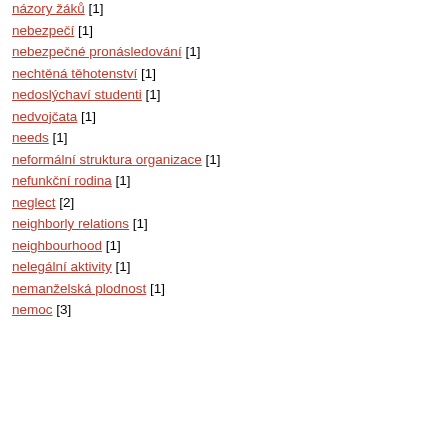názory žáků [1]
nebezpečí [1]
nebezpečné pronásledování [1]
nechtěná těhotenství [1]
nedoslýchaví studenti [1]
nedvojčata [1]
needs [1]
neformální struktura organizace [1]
nefunkční rodina [1]
neglect [2]
neighborly relations [1]
neighbourhood [1]
nelegální aktivity [1]
nemanželská plodnost [1]
nemoc [3]